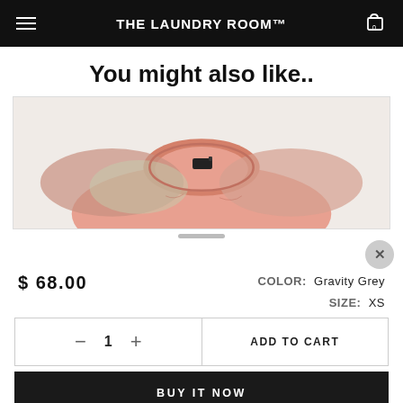THE LAUNDRY ROOM™
You might also like..
[Figure (photo): Photo of a pink/salmon colored t-shirt with a crew neck, showing the collar and chest area on a light background]
$ 68.00
COLOR: Gravity Grey
SIZE: XS
- 1 + ADD TO CART
BUY IT NOW